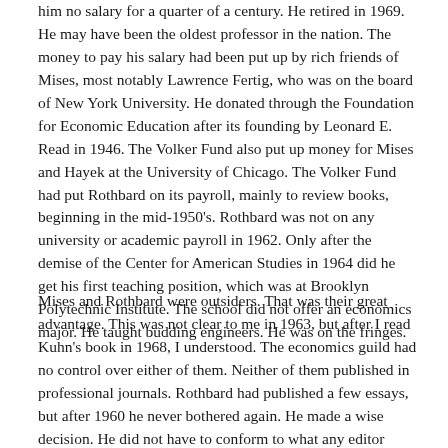him no salary for a quarter of a century. He retired in 1969. He may have been the oldest professor in the nation. The money to pay his salary had been put up by rich friends of Mises, most notably Lawrence Fertig, who was on the board of New York University. He donated through the Foundation for Economic Education after its founding by Leonard E. Read in 1946. The Volker Fund also put up money for Mises and Hayek at the University of Chicago. The Volker Fund had put Rothbard on its payroll, mainly to review books, beginning in the mid-1950's. Rothbard was not on any university or academic payroll in 1962. Only after the demise of the Center for American Studies in 1964 did he get his first teaching position, which was at Brooklyn Polytechnic Institute. The school did not offer an economics major. He taught budding engineers. He was on the fringes.
Mises and Rothbard were outsiders. That was their great advantage. This was not clear to me in 1963, but after I read Kuhn's book in 1968, I understood. The economics guild had no control over either of them. Neither of them published in professional journals. Rothbard had published a few essays, but after 1960 he never bothered again. He made a wise decision. He did not have to conform to what any editor believed.